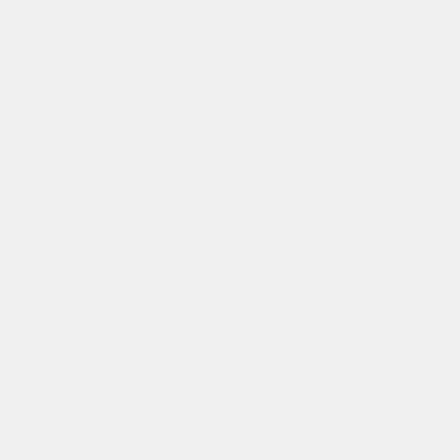brethren assembled, and utter resolved converted Gentile proselytes. Ne occasion, to have Titus circumcis who was with me, being a Greek Jews called all the idolatrous Ge comprehended the whole of man appellation, from the apostle's ca idolatrous Gentile. The same thi circumcised. For after the decree obedience to the law of Moses, i Judaizers could not with any she determined nothing respecting th Judaizers, who by stealth introdu Peter, and John the gospel which conversion was an idolater, migh circumcision by the Council's de Paul resolutely withstood, that th
After the Council, when Paul the brethren an account of what h that time forth, seems to have ac set out from Antioch, to visit the journey, and to confirm them by
« Предыдущая